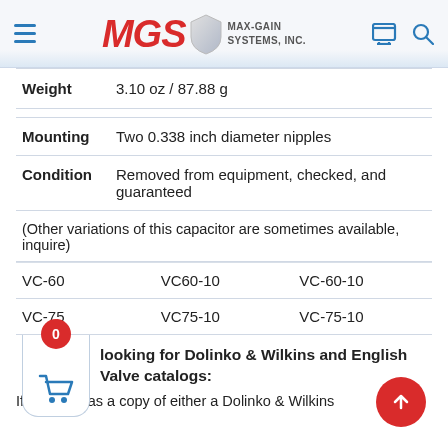MGS MAX-GAIN SYSTEMS, INC.
| Weight | 3.10 oz / 87.88 g |
| Mounting | Two 0.338 inch diameter nipples |
| Condition | Removed from equipment, checked, and guaranteed |
(Other variations of this capacitor are sometimes available, inquire)
| VC-60 | VC60-10 | VC-60-10 |
| VC-75 | VC75-10 | VC-75-10 |
Looking for Dolinko & Wilkins and English Valve catalogs:
If anyone has a copy of either a Dolinko & Wilkins